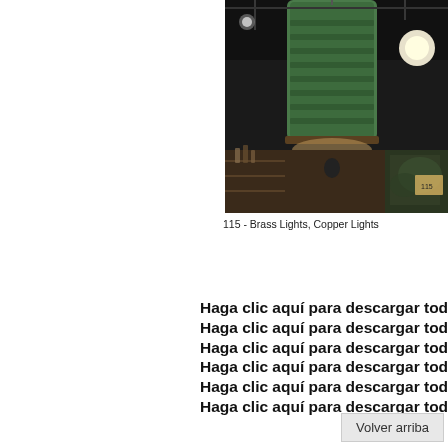[Figure (photo): Photo of decorative hanging lights (brass/copper/green patina cylindrical pendant lamp) in what appears to be a store or restaurant interior]
115 - Brass Lights, Copper Lights
Haga clic aquí para descargar toda
Haga clic aquí para descargar toda
Haga clic aquí para descargar toda
Haga clic aquí para descargar toda
Haga clic aquí para descargar toda
Haga clic aquí para descargar toda
Volver arriba